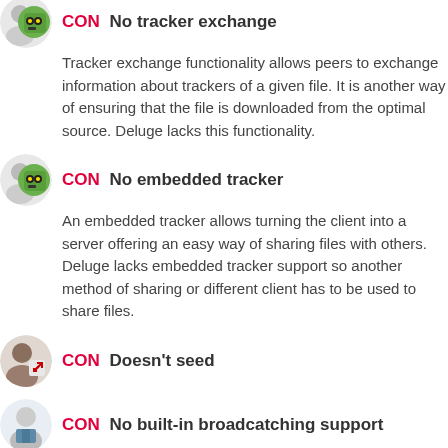CON No tracker exchange
Tracker exchange functionality allows peers to exchange information about trackers of a given file. It is another way of ensuring that the file is downloaded from the optimal source. Deluge lacks this functionality.
CON No embedded tracker
An embedded tracker allows turning the client into a server offering an easy way of sharing files with others. Deluge lacks embedded tracker support so another method of sharing or different client has to be used to share files.
CON Doesn't seed
CON No built-in broadcatching support